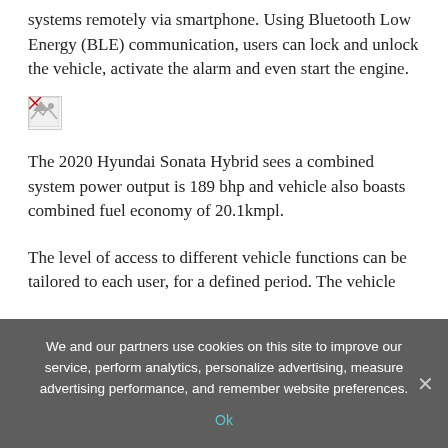systems remotely via smartphone. Using Bluetooth Low Energy (BLE) communication, users can lock and unlock the vehicle, activate the alarm and even start the engine.
[Figure (photo): Broken image placeholder (small icon with torn image symbol)]
The 2020 Hyundai Sonata Hybrid sees a combined system power output is 189 bhp and vehicle also boasts combined fuel economy of 20.1kmpl.
The level of access to different vehicle functions can be tailored to each user, for a defined period. The vehicle
We and our partners use cookies on this site to improve our service, perform analytics, personalize advertising, measure advertising performance, and remember website preferences.